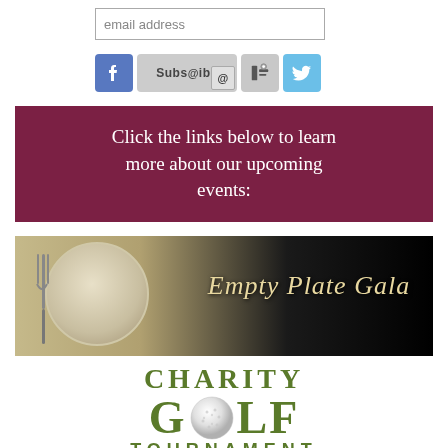[Figure (screenshot): Email address input field with placeholder text 'email address']
[Figure (screenshot): Social media and subscribe buttons row: Facebook (blue), Subscribe with @-sign icon (gray), Reader icon (gray), Twitter (light blue)]
Click the links below to learn more about our upcoming events:
[Figure (photo): Empty Plate Gala event banner with elegant plate and fork on left, dark background on right, with decorative script text 'Empty Plate Gala']
[Figure (logo): Charity Golf Tournament logo with green serif text: 'CHARITY' on top, 'GOLF' with golf ball as the letter O, 'TOURNAMENT' below]